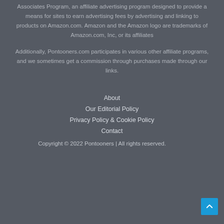Associates Program, an affiliate advertising program designed to provide a means for sites to earn advertising fees by advertising and linking to products on Amazon.com. Amazon and the Amazon logo are trademarks of Amazon.com, Inc, or its affiliates
Additionally, Pontooners.com participates in various other affiliate programs, and we sometimes get a commission through purchases made through our links.
About
Our Editorial Policy
Privacy Policy & Cookie Policy
Contact
Copyright © 2022 Pontooners | All rights reserved.